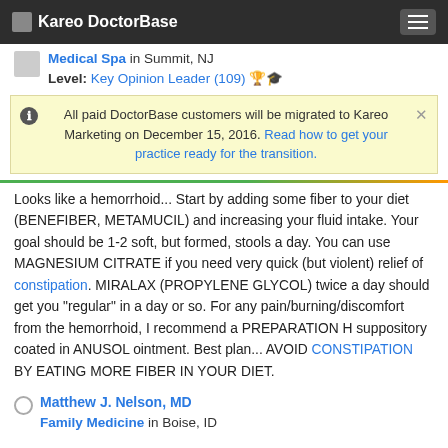Kareo DoctorBase
Medical Spa in Summit, NJ
Level: Key Opinion Leader (109)
All paid DoctorBase customers will be migrated to Kareo Marketing on December 15, 2016. Read how to get your practice ready for the transition.
Looks like a hemorrhoid... Start by adding some fiber to your diet (BENEFIBER, METAMUCIL) and increasing your fluid intake. Your goal should be 1-2 soft, but formed, stools a day. You can use MAGNESIUM CITRATE if you need very quick (but violent) relief of constipation. MIRALAX (PROPYLENE GLYCOL) twice a day should get you "regular" in a day or so. For any pain/burning/discomfort from the hemorrhoid, I recommend a PREPARATION H suppository coated in ANUSOL ointment. Best plan... AVOID CONSTIPATION BY EATING MORE FIBER IN YOUR DIET.
Matthew J. Nelson, MD
Family Medicine in Boise, ID